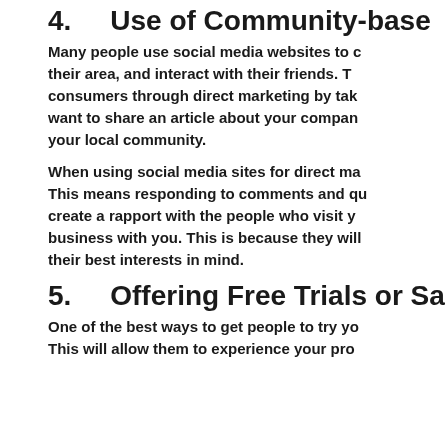4.    Use of Community-base...
Many people use social media websites to c... their area, and interact with their friends. T... consumers through direct marketing by tak... want to share an article about your compan... your local community.
When using social media sites for direct ma... This means responding to comments and qu... create a rapport with the people who visit y... business with you. This is because they will... their best interests in mind.
5.    Offering Free Trials or Sa...
One of the best ways to get people to try yo... This will allow them to experience your pro...